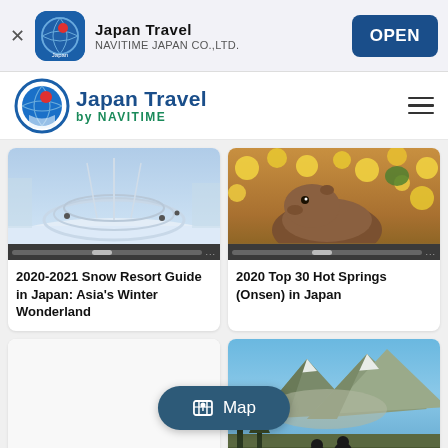Japan Travel - NAVITIME JAPAN CO.,LTD. - OPEN
[Figure (logo): Japan Travel by NAVITIME logo with globe icon]
[Figure (photo): 2020-2021 Snow Resort Guide in Japan: Asia's Winter Wonderland - snowy winter scene with circular observation deck]
2020-2021 Snow Resort Guide in Japan: Asia's Winter Wonderland
[Figure (photo): 2020 Top 30 Hot Springs (Onsen) in Japan - capybara in yuzu hot spring bath]
2020 Top 30 Hot Springs (Onsen) in Japan
[Figure (photo): Blank card placeholder]
[Figure (photo): Mountain landscape with two silhouetted figures sitting]
Map